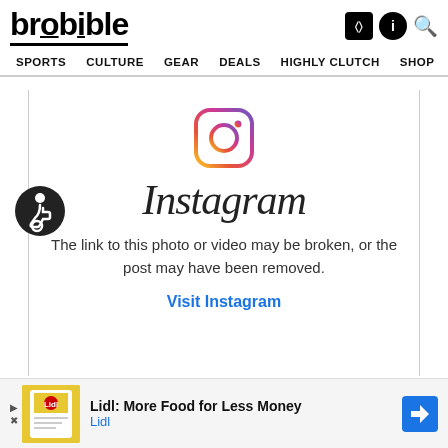brobible — SPORTS | CULTURE | GEAR | DEALS | HIGHLY CLUTCH | SHOP
[Figure (logo): Instagram logo icon — gradient circle with camera outline]
Instagram
The link to this photo or video may be broken, or the post may have been removed.
Visit Instagram
[Figure (illustration): Accessibility (wheelchair) icon — white figure on black circle]
Lidl: More Food for Less Money
Lidl